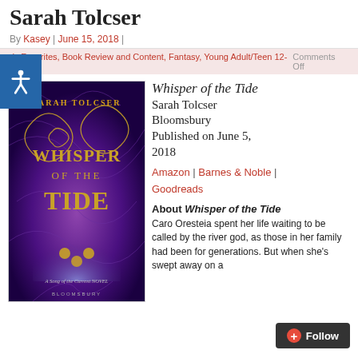Sarah Tolcser
By Kasey | June 15, 2018 |
r's Favorites, Book Review and Content, Fantasy, Young Adult/Teen 12-18    Comments Off
[Figure (photo): Book cover of Whisper of the Tide by Sarah Tolcser, published by Bloomsbury. Purple background with golden swirling designs and the title in ornate golden lettering. Subtitle: A Song of the Current Novel.]
Whisper of the Tide
Sarah Tolcser
Bloomsbury
Published on June 5, 2018
Amazon | Barnes & Noble | Goodreads
About Whisper of the Tide
Caro Oresteia spent her life waiting to be called by the river god, as those in her family had been for generations. But when she's swept away on a